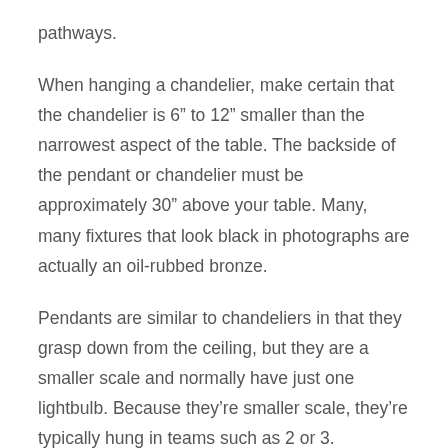pathways.
When hanging a chandelier, make certain that the chandelier is 6” to 12” smaller than the narrowest aspect of the table. The backside of the pendant or chandelier must be approximately 30” above your table. Many, many fixtures that look black in photographs are actually an oil-rubbed bronze.
Pendants are similar to chandeliers in that they grasp down from the ceiling, but they are a smaller scale and normally have just one lightbulb. Because they’re smaller scale, they’re typically hung in teams such as 2 or 3. Chandeliers are assertion fixtures that hold down from the ceiling. They are sometimes used over dining tables, in larger residing rooms, or entryways and huge foyers.
Stilights and...